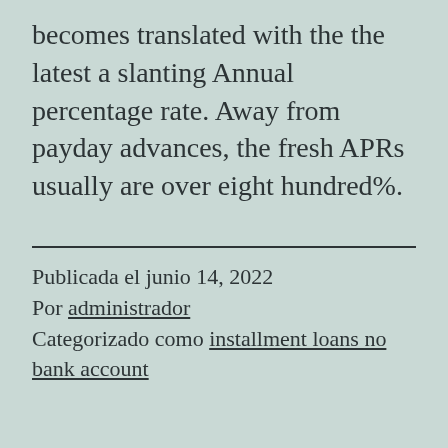becomes translated with the the latest a slanting Annual percentage rate. Away from payday advances, the fresh APRs usually are over eight hundred%.
Publicada el junio 14, 2022
Por administrador
Categorizado como installment loans no bank account